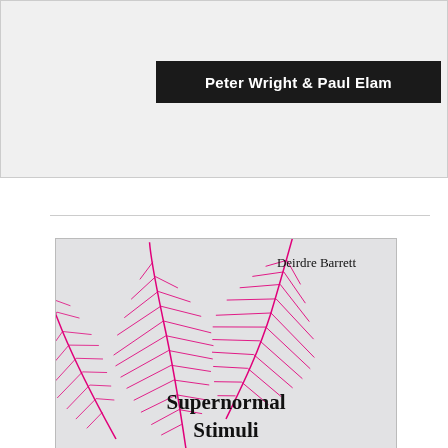Peter Wright & Paul Elam
[Figure (photo): Book cover of 'Supernormal Stimuli' by Deirdre Barrett, featuring three large pink feathers on a light gray background]
Supernormal
Stimuli